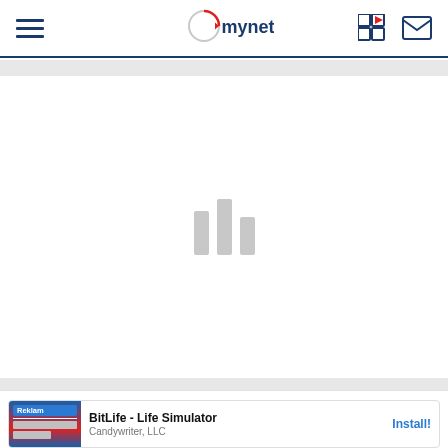mynet
[Figure (screenshot): Loading spinner — three vertical gray bars of varying heights centered in main content area]
Mardin Namaz Vakitleri
26 Ağustos Cuma
[Figure (other): Advertisement banner: Reklam label, BitLife - Life Simulator app ad by Candywriter, LLC with Install! button]